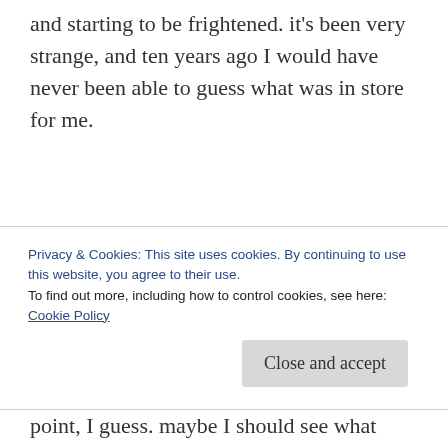and starting to be frightened.  it's been very strange, and ten years ago I would have never been able to guess what was in store for me.
well, lost my train of thought thanks to blogging at work.  oops.  but I brought it up because I'm trying to decide what I want to do on Saturday.  maybe I'll buy a bottle of mead in honor of Matt.  we're supposed to get more snow on Friday so I don't
Privacy & Cookies: This site uses cookies. By continuing to use this website, you agree to their use.
To find out more, including how to control cookies, see here: Cookie Policy
point, I guess.  maybe I should see what Ryan's